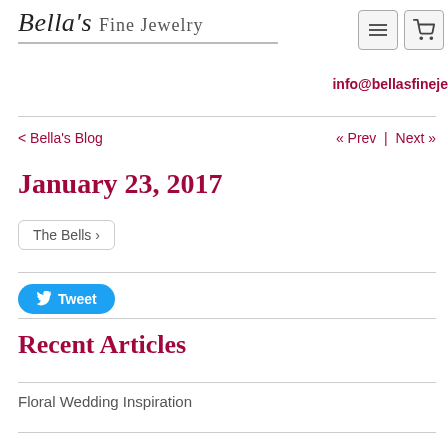Bella's Fine Jewelry
info@bellasfineje...
< Bella's Blog   « Prev | Next »
January 23, 2017
The Bells ›
[Figure (other): Tweet button with Twitter bird icon]
Recent Articles
Floral Wedding Inspiration